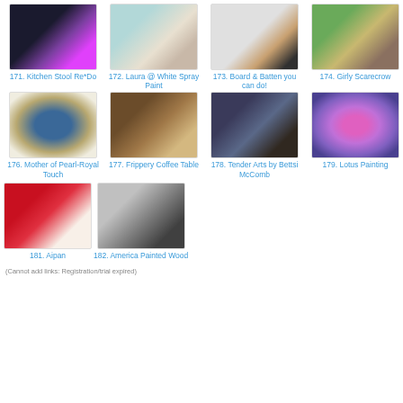[Figure (photo): Kitchen stool with decorative top]
171. Kitchen Stool Re*Do
[Figure (photo): White spray painted chair with flowers]
172. Laura @ White Spray Paint
[Figure (photo): Board and batten wall]
173. Board & Batten you can do!
[Figure (photo): Girly scarecrow outdoors]
174. Girly Scarecrow
[Figure (photo): Mother of pearl clock with royal blue face]
176. Mother of Pearl-Royal Touch
[Figure (photo): Frippery coffee table with rustic wood]
177. Frippery Coffee Table
[Figure (photo): Tender arts lamp with blue fabric shade]
178. Tender Arts by Bettsi McComb
[Figure (photo): Lotus flower painting in purple and pink]
179. Lotus Painting
[Figure (photo): Red bandana fabric with white pattern]
181. Aipan
[Figure (photo): America painted wood sign in black and white]
182. America Painted Wood
(Cannot add links: Registration/trial expired)